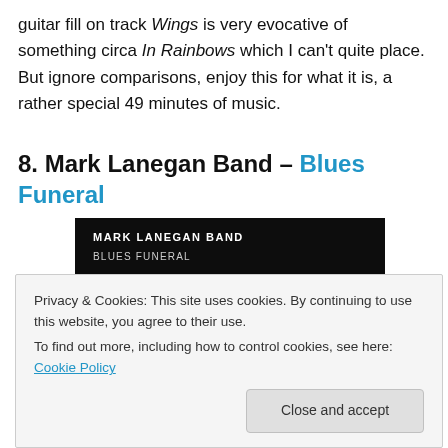guitar fill on track Wings is very evocative of something circa In Rainbows which I can't quite place. But ignore comparisons, enjoy this for what it is, a rather special 49 minutes of music.
8. Mark Lanegan Band – Blues Funeral
[Figure (photo): Album cover for Mark Lanegan Band - Blues Funeral featuring pink flowers on a black background with text 'MARK LANEGAN BAND BLUES FUNERAL' on a dark banner at the top.]
Privacy & Cookies: This site uses cookies. By continuing to use this website, you agree to their use.
To find out more, including how to control cookies, see here: Cookie Policy
Close and accept